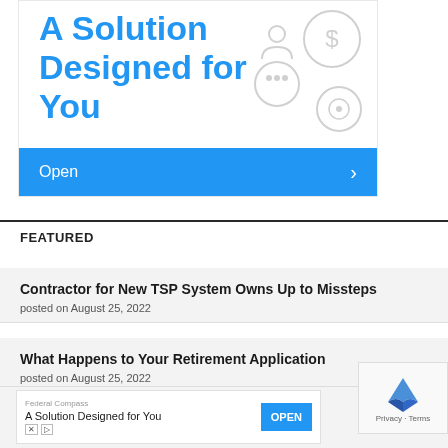[Figure (illustration): Advertisement banner for Federal Compass showing 'A Solution Designed for You' in blue text with decorative icons and an Open button]
FEATURED
Contractor for New TSP System Owns Up to Missteps
posted on August 25, 2022
What Happens to Your Retirement Application
posted on August 25, 2022
[Figure (screenshot): Bottom advertisement for Federal Compass with OPEN button and ad icons]
How t